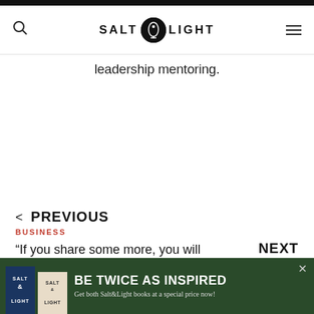SALT & LIGHT
leadership mentoring.
< PREVIOUS
BUSINESS
“If you share some more, you will have to get out of my cab”: Accounting firm boss shares do’s
[Figure (infographic): Salt & Light book advertisement banner: BE TWICE AS INSPIRED - Get both Salt&Light books at a special price now!]
NEXT